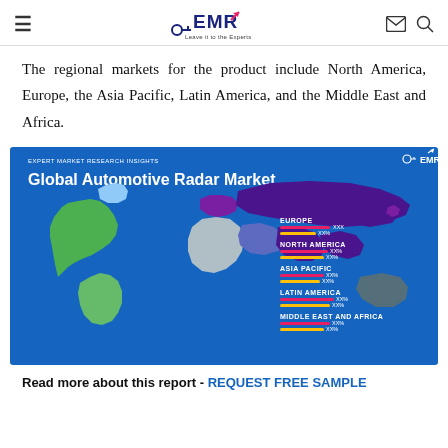EMR – Expert Market Research Insights
The regional markets for the product include North America, Europe, the Asia Pacific, Latin America, and the Middle East and Africa.
[Figure (map): Global Automotive Radar Market infographic map showing regional breakdown including Europe, North America, Asia Pacific, Latin America, and Middle East and Africa with colored bar indicators for each region on a blue background.]
Read more about this report - REQUEST FREE SAMPLE